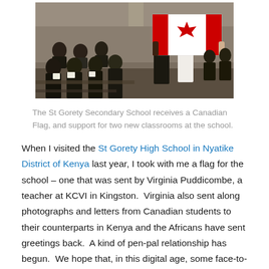[Figure (photo): Photograph of St Gorety Secondary School classroom full of students in uniforms, with two people in the foreground holding a Canadian flag.]
The St Gorety Secondary School receives a Canadian Flag, and support for two new classrooms at the school.
When I visited the St Gorety High School in Nyatike District of Kenya last year, I took with me a flag for the school – one that was sent by Virginia Puddicombe, a teacher at KCVI in Kingston.  Virginia also sent along photographs and letters from Canadian students to their counterparts in Kenya and the Africans have sent greetings back.  A kind of pen-pal relationship has begun.  We hope that, in this digital age, some face-to-face